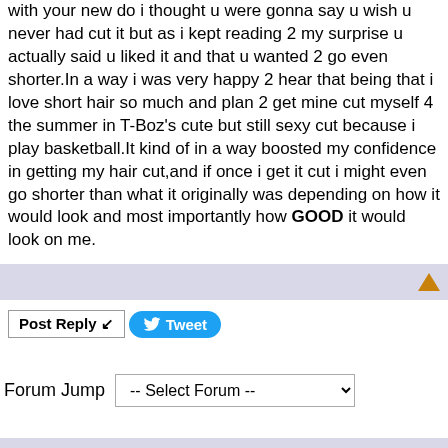with your new do i thought u were gonna say u wish u never had cut it but as i kept reading 2 my surprise u actually said u liked it and that u wanted 2 go even shorter.In a way i was very happy 2 hear that being that i love short hair so much and plan 2 get mine cut myself 4 the summer in T-Boz's cute but still sexy cut because i play basketball.It kind of in a way boosted my confidence in getting my hair cut,and if once i get it cut i might even go shorter than what it originally was depending on how it would look and most importantly how GOOD it would look on me.
Post Reply | Tweet
Forum Jump  -- Select Forum --
View in: Mobile | Classic